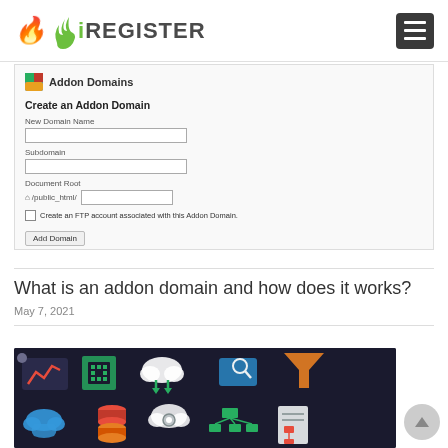iREGISTER
[Figure (screenshot): cPanel Addon Domains interface showing 'Create an Addon Domain' form with fields: New Domain Name, Subdomain, Document Root (/public_html/), a checkbox for FTP account, and Add Domain button]
What is an addon domain and how does it works?
May 7, 2021
[Figure (illustration): Dark background tech/networking infographic with colorful icons including analytics chart, CPU chip, cloud with arrows, magnifying glass with monitor, funnel/filter, cloud storage, database cylinders, cloud with gears, network diagram, and document flowchart icons]